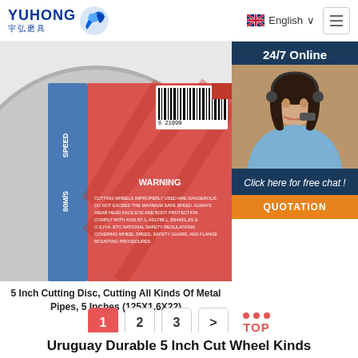[Figure (logo): YUHONG 宇弘磨具 logo with blue wave icon]
[Figure (other): Navigation bar with English language selector and hamburger menu]
[Figure (photo): 5 Inch Cutting Disc product image showing disc with WARNING label, speed 80M/S, barcode]
[Figure (photo): 24/7 Online chat widget with woman wearing headset, Click here for free chat, QUOTATION button]
5 Inch Cutting Disc, Cutting All Kinds Of Metal Pipes, 5 Inches (125X1.6X22)
1
2
3
>
Uruguay Durable 5 Inch Cut Wheel Kinds